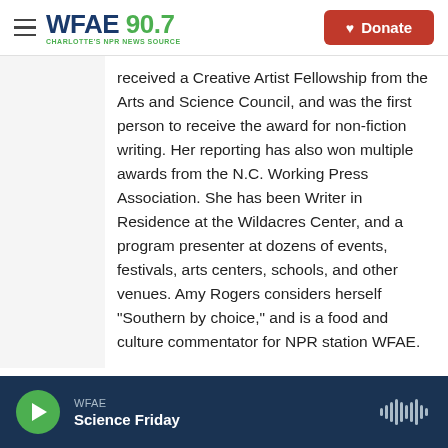WFAE 90.7 Charlotte's NPR News Source | Donate
received a Creative Artist Fellowship from the Arts and Science Council, and was the first person to receive the award for non-fiction writing. Her reporting has also won multiple awards from the N.C. Working Press Association. She has been Writer in Residence at the Wildacres Center, and a program presenter at dozens of events, festivals, arts centers, schools, and other venues. Amy Rogers considers herself "Southern by choice," and is a food and culture commentator for NPR station WFAE.
See stories by Amy Rogers
WFAE | Science Friday